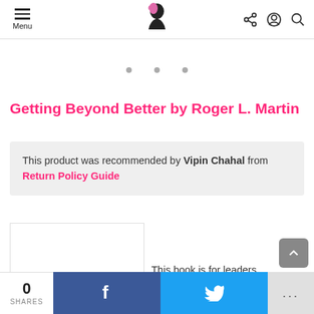Menu [logo] [share] [account] [search]
[Figure (other): Three grey dots indicating a carousel/slider indicator]
Getting Beyond Better by Roger L. Martin
This product was recommended by Vipin Chahal from Return Policy Guide
[Figure (photo): Book cover image placeholder (white rectangle with border)]
This book is for leaders.
0 SHARES  f  [Twitter bird]  ...